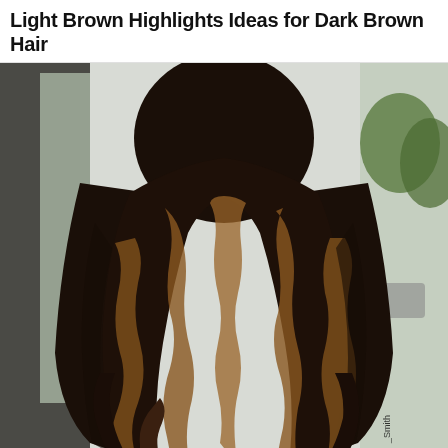Light Brown Highlights Ideas for Dark Brown Hair
[Figure (photo): Back view of a person with long, wavy dark brown hair featuring light brown/caramel balayage highlights. The hair cascades in loose waves. Background shows a bright outdoor/indoor setting with glass panels.]